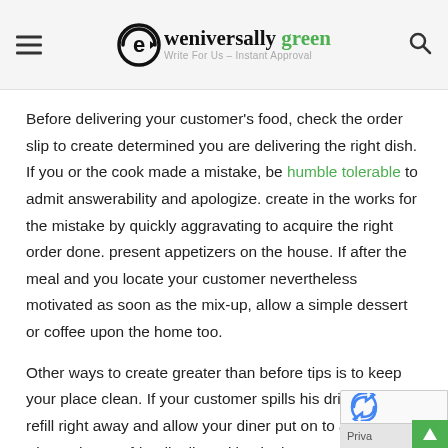eweniversally green — Write For Us – Instant Approval
Before delivering your customer's food, check the order slip to create determined you are delivering the right dish. If you or the cook made a mistake, be humble tolerable to admit answerability and apologize. create in the works for the mistake by quickly aggravating to acquire the right order done. present appetizers on the house. If after the meal and you locate your customer nevertheless motivated as soon as the mix-up, allow a simple dessert or coffee upon the home too.
Other ways to create greater than before tips is to keep your place clean. If your customer spills his drink, give a refill right away and allow your diner put on to a tidy table. Always have a friendly disposition in the manner of dealing taking into account customers. Be kind but not too kind that you may hermetically sealed roomy and intrusive. find more behavior from veteran…